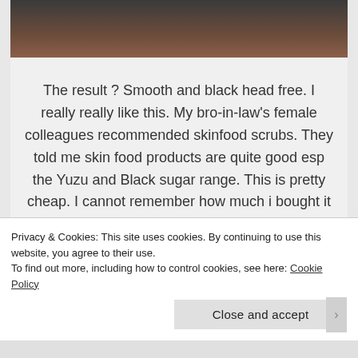[Figure (photo): Top portion of a photo showing skincare products on a woven mat background, partially cropped]
The result ? Smooth and black head free. I really really like this. My bro-in-law's female colleagues recommended skinfood scrubs. They told me skin food products are quite good esp the Yuzu and Black sugar range. This is pretty cheap. I cannot remember how much i bought it but it is less than KRW 10,000. It is KRW 6,900 if im not wrong. I bought it during SALES online and shipped it to my MIL house and she brought over.
Privacy & Cookies: This site uses cookies. By continuing to use this website, you agree to their use.
To find out more, including how to control cookies, see here: Cookie Policy
Close and accept